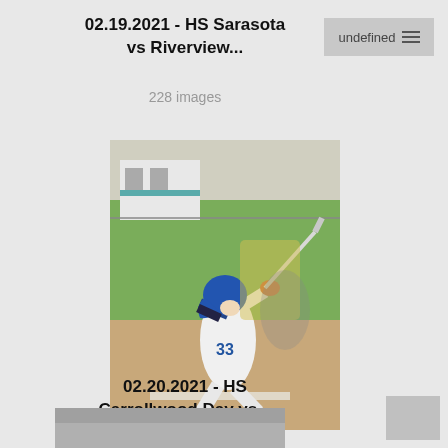02.19.2021 - HS Sarasota vs Riverview...
228 images
[Figure (photo): Baseball player wearing number 33 in white uniform and blue helmet swinging a bat at home plate on a sunny day]
02.20.2021 - HS Carrollwood Day vs...
32 images